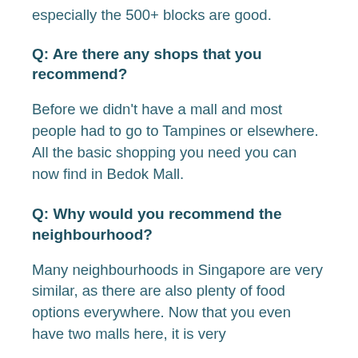especially the 500+ blocks are good.
Q: Are there any shops that you recommend?
Before we didn't have a mall and most people had to go to Tampines or elsewhere. All the basic shopping you need you can now find in Bedok Mall.
Q: Why would you recommend the neighbourhood?
Many neighbourhoods in Singapore are very similar, as there are also plenty of food options everywhere. Now that you even have two malls here, it is very